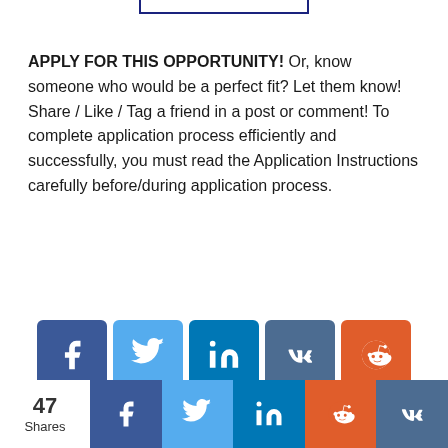[Figure (other): Partial bottom border of a box, cut off at top of page]
APPLY FOR THIS OPPORTUNITY! Or, know someone who would be a perfect fit? Let them know! Share / Like / Tag a friend in a post or comment! To complete application process efficiently and successfully, you must read the Application Instructions carefully before/during application process.
[Figure (infographic): Row of 5 social media share buttons: Facebook (dark blue), Twitter (light blue), LinkedIn (blue), VK (slate blue), Reddit (orange)]
[Figure (other): Partial view of University of Waikato International Excellence Scholarship card with red border]
[Figure (infographic): Sticky bottom share bar with 47 Shares count and social buttons: Facebook, Twitter, LinkedIn, Reddit, VK]